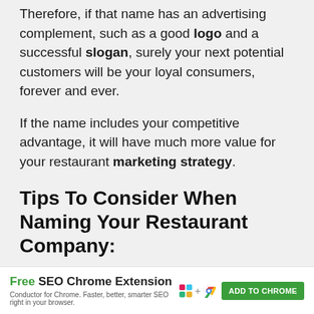Therefore, if that name has an advertising complement, such as a good logo and a successful slogan, surely your next potential customers will be your loyal consumers, forever and ever.
If the name includes your competitive advantage, it will have much more value for your restaurant marketing strategy.
Tips To Consider When Naming Your Restaurant Company:
[Figure (other): Advertisement bar: Free SEO Chrome Extension — Conductor for Chrome. Faster, better, smarter SEO right in your browser. ADD TO CHROME button with Slack and Chrome icons.]